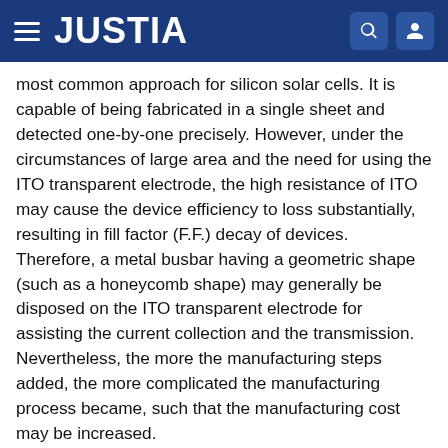JUSTIA
most common approach for silicon solar cells. It is capable of being fabricated in a single sheet and detected one-by-one precisely. However, under the circumstances of large area and the need for using the ITO transparent electrode, the high resistance of ITO may cause the device efficiency to loss substantially, resulting in fill factor (F.F.) decay of devices. Therefore, a metal busbar having a geometric shape (such as a honeycomb shape) may generally be disposed on the ITO transparent electrode for assisting the current collection and the transmission. Nevertheless, the more the manufacturing steps added, the more complicated the manufacturing process became, such that the manufacturing cost may be increased.
The strip-type solar cell module is another design approach commonly used for modules. It is mainly